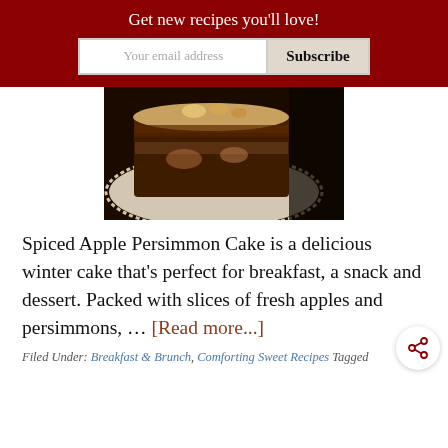Get new recipes you'll love!
[Figure (photo): Close-up photo of a slice of Spiced Apple Persimmon Cake on lace doily, dark background]
Spiced Apple Persimmon Cake is a delicious winter cake that's perfect for breakfast, a snack and dessert. Packed with slices of fresh apples and persimmons, … [Read more...]
Filed Under: Breakfast & Brunch, Comforting Sweet Recipes Tagged